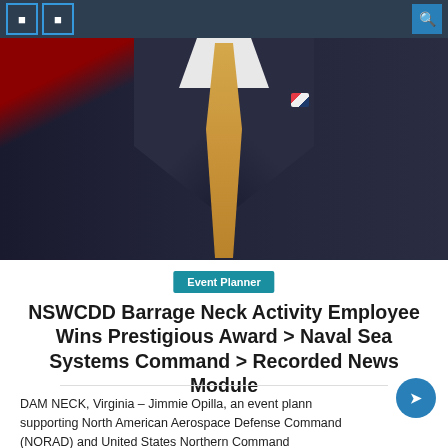Navigation bar with menu icons and search
[Figure (photo): Close-up photo of a person in a dark pinstripe suit with a gold/tan patterned tie and an American flag lapel pin, with a red flag visible at the left edge.]
Event Planner
NSWCDD Barrage Neck Activity Employee Wins Prestigious Award > Naval Sea Systems Command > Recorded News Module
DAM NECK, Virginia – Jimmie Opilla, an event planner supporting North American Aerospace Defense Command (NORAD) and United States Northern Command